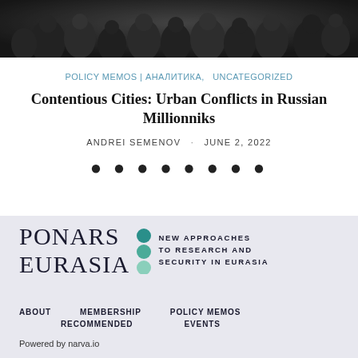[Figure (photo): Crowd of people in winter clothing, dark toned photograph used as a header image for the article.]
POLICY MEMOS | АНАЛИТИКА,   UNCATEGORIZED
Contentious Cities: Urban Conflicts in Russian Millionniks
ANDREI SEMENOV · JUNE 2, 2022
[Figure (other): Navigation dots (pagination indicator): 8 filled black circles in a row]
[Figure (logo): PONARS EURASIA logo with teal/green circles and tagline: NEW APPROACHES TO RESEARCH AND SECURITY IN EURASIA]
ABOUT   MEMBERSHIP   POLICY MEMOS   RECOMMENDED   EVENTS
Powered by narva.io